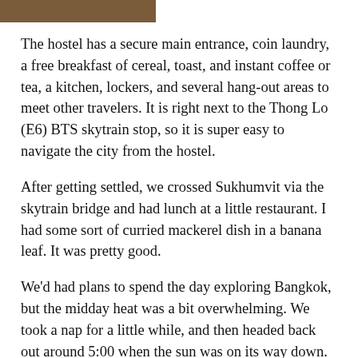[Figure (photo): Partial photo visible at top of page, brownish/warm toned image cropped]
The hostel has a secure main entrance, coin laundry, a free breakfast of cereal, toast, and instant coffee or tea, a kitchen, lockers, and several hang-out areas to meet other travelers. It is right next to the Thong Lo (E6) BTS skytrain stop, so it is super easy to navigate the city from the hostel.
After getting settled, we crossed Sukhumvit via the skytrain bridge and had lunch at a little restaurant. I had some sort of curried mackerel dish in a banana leaf. It was pretty good.
We'd had plans to spend the day exploring Bangkok, but the midday heat was a bit overwhelming. We took a nap for a little while, and then headed back out around 5:00 when the sun was on its way down.
We took the BTS Skytrain to the Metro subway intersection. The skytrain and the subway in Bangkok are very modern and pretty much just like the subways in New York, Chicago, D...